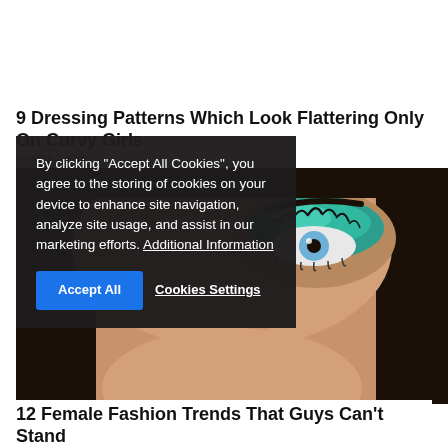9 Dressing Patterns Which Look Flattering Only On Curvy Girls
HERBEAUTY
[Figure (photo): Close-up photo of a woman's face with dramatic blue-green eye makeup, dark eyelashes, and blue eyes]
By clicking “Accept All Cookies”, you agree to the storing of cookies on your device to enhance site navigation, analyze site usage, and assist in our marketing efforts. Additional Information
Accept All   Cookies Settings
12 Female Fashion Trends That Guys Can't Stand